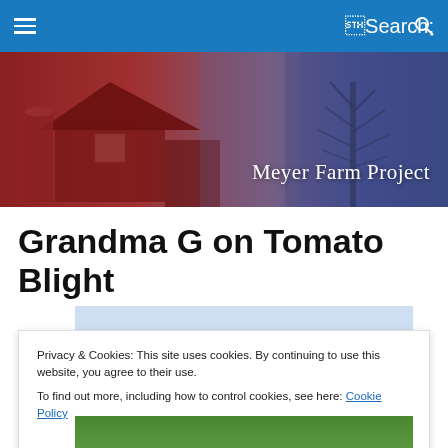Meyer Farm Project – navigation bar
[Figure (photo): Meyer Farm Project header banner showing a red barn and bare tree against a blue-purple sky background, with 'Meyer Farm Project' text overlay]
Grandma G on Tomato Blight
Privacy & Cookies: This site uses cookies. By continuing to use this website, you agree to their use.
To find out more, including how to control cookies, see here: Cookie Policy
Close and accept